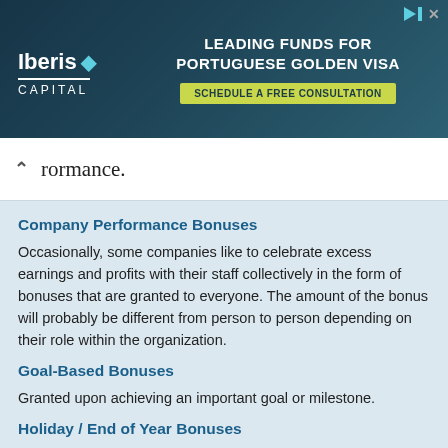[Figure (other): Advertisement banner for Iberis Capital — Leading Funds for Portuguese Golden Visa, with a Schedule a Free Consultation CTA button]
rormance.
Company Performance Bonuses
Occasionally, some companies like to celebrate excess earnings and profits with their staff collectively in the form of bonuses that are granted to everyone. The amount of the bonus will probably be different from person to person depending on their role within the organization.
Goal-Based Bonuses
Granted upon achieving an important goal or milestone.
Holiday / End of Year Bonuses
These types of bonuses are given without a